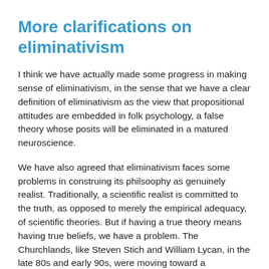More clarifications on eliminativism
I think we have actually made some progress in making sense of eliminativism, in the sense that we have a clear definition of eliminativism as the view that propositional attitudes are embedded in folk psychology, a false theory whose posits will be eliminated in a matured neuroscience.
We have also agreed that eliminativism faces some problems in construing its philsoophy as genuinely realist. Traditionally, a scientific realist is committed to the truth, as opposed to merely the empirical adequacy, of scientific theories. But if having a true theory means having true beliefs, we have a problem. The Churchlands, like Steven Stich and William Lycan, in the late 80s and early 90s, were moving toward a pragmatism that dethrones truth. Of course, Churchland proclaimed that new theories would provide us some thing better than truth, but what would that be, something more true that truth? Dennett had argued on pragmatic grounds for folk psychology while denying that it was ultimately true. But if truth is replaced by something